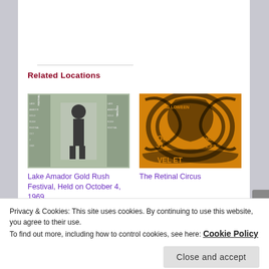Related Locations
[Figure (photo): Black and white vintage poster/photo showing a man standing, with decorative text borders on the sides]
Lake Amador Gold Rush Festival, Held on October 4, 1969
[Figure (photo): Orange and black concert poster for The Retinal Circus, Halloween themed, Oct 31-Nov 1,2,3]
The Retinal Circus
Privacy & Cookies: This site uses cookies. By continuing to use this website, you agree to their use.
To find out more, including how to control cookies, see here: Cookie Policy
Close and accept
Travel' By Bo Diddley